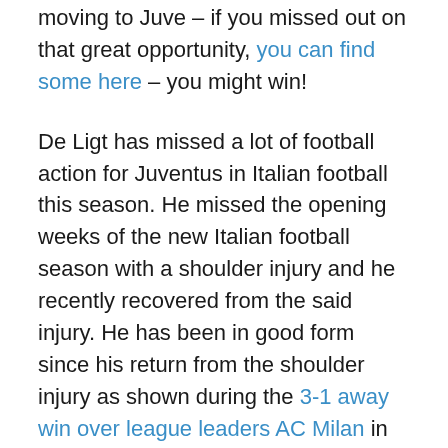moving to Juve – if you missed out on that great opportunity, you can find some here – you might win!
De Ligt has missed a lot of football action for Juventus in Italian football this season. He missed the opening weeks of the new Italian football season with a shoulder injury and he recently recovered from the said injury. He has been in good form since his return from the shoulder injury as shown during the 3-1 away win over league leaders AC Milan in midweek. The Dutchman will likely miss the blockbuster league encounter with Inter Milan on January 17 as he won't have recovered from Covid-19 by then. Juventus were without defensive options like Alex